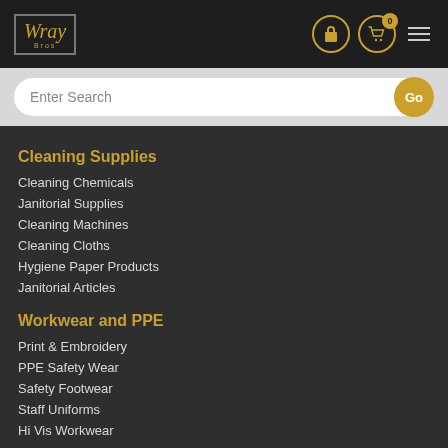[Figure (logo): Wray Bros company logo in gold italic script on dark background inside a bordered box]
Cleaning Supplies
Cleaning Chemicals
Janitorial Supplies
Cleaning Machines
Cleaning Cloths
Hygiene Paper Products
Janitorial Articles
Workwear and PPE
Print & Embroidery
PPE Safety Wear
Safety Footwear
Staff Uniforms
Hi Vis Workwear